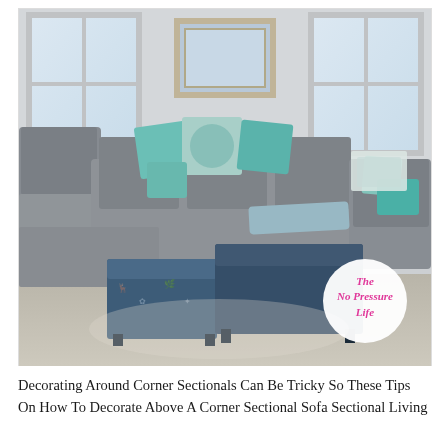[Figure (photo): Interior living room photo showing a large gray L-shaped corner sectional sofa with teal/turquoise decorative pillows, two blue patterned ottomans in front, two white-framed windows, and a framed coastal art piece on the wall. A circular logo watermark reads 'The No Pressure Life' in pink cursive text.]
Decorating Around Corner Sectionals Can Be Tricky So These Tips On How To Decorate Above A Corner Sectional Sofa Sectional Living